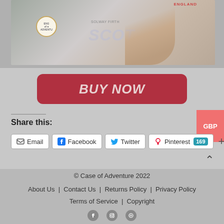[Figure (photo): Photo of a hand pointing at a map showing Scotland and England, with a circular badge/pin visible. Text on map reads ENGLAND, SOLWAY FIRTH, SCOT (Scotland).]
[Figure (other): BUY NOW button — dark red rounded rectangle with italic white text reading BUY NOW]
[Figure (other): GBP currency badge in salmon/pink color on right edge]
Share this:
Email  Facebook  Twitter  Pinterest 169  +
© Case of Adventure 2022
About Us  Contact Us  Returns Policy  Privacy Policy
Terms of Service  Copyright